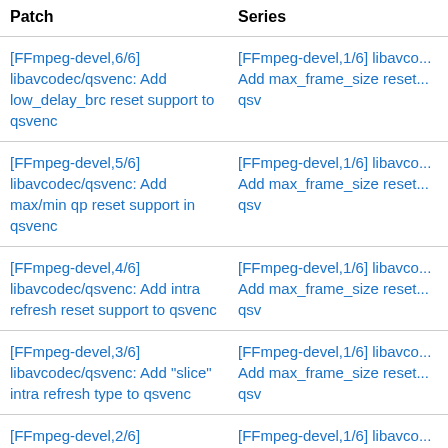| Patch | Series |
| --- | --- |
| [FFmpeg-devel,6/6] libavcodec/qsvenc: Add low_delay_brc reset support to qsvenc | [FFmpeg-devel,1/6] libavcodec/qsvenc: Add max_frame_size reset support to qsv |
| [FFmpeg-devel,5/6] libavcodec/qsvenc: Add max/min qp reset support in qsvenc | [FFmpeg-devel,1/6] libavcodec/qsvenc: Add max_frame_size reset support to qsv |
| [FFmpeg-devel,4/6] libavcodec/qsvenc: Add intra refresh reset support to qsvenc | [FFmpeg-devel,1/6] libavcodec/qsvenc: Add max_frame_size reset support to qsv |
| [FFmpeg-devel,3/6] libavcodec/qsvenc: Add "slice" intra refresh type to qsvenc | [FFmpeg-devel,1/6] libavcodec/qsvenc: Add max_frame_size reset support to qsv |
| [FFmpeg-devel,2/6] libavcodec/qsvenc: Add gop_size reset support to qsvenc | [FFmpeg-devel,1/6] libavcodec/qsvenc: Add max_frame_size reset support to qsv |
| [FFmpeg-devel,1/6] libavcodec/qsvenc: Add max_frame_size reset support to qsv | [FFmpeg-devel,1/6] libavcodec/qsvenc: Add max_frame_size reset support to qsv |
| [FFmpeg-devel,v2,3/3] lavc/vaapi_vp9: add surface internal re-allocation | [FFmpeg-devel,v2,1/3] lavc/vaapi_vp9: Warn_not_hw_config f... |